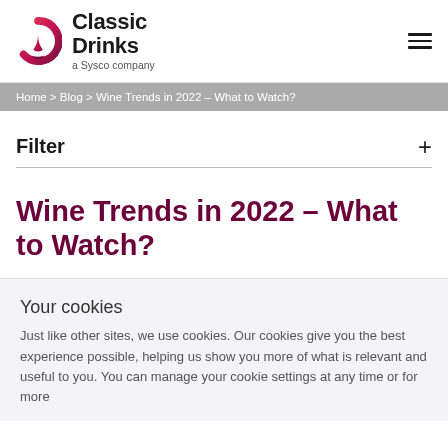[Figure (logo): Classic Drinks a Sysco company logo with pink/red circular icon]
Home > Blog > Wine Trends in 2022 – What to Watch?
Filter
Wine Trends in 2022 – What to Watch?
Your cookies
Just like other sites, we use cookies. Our cookies give you the best experience possible, helping us show you more of what is relevant and useful to you. You can manage your cookie settings at any time or for more